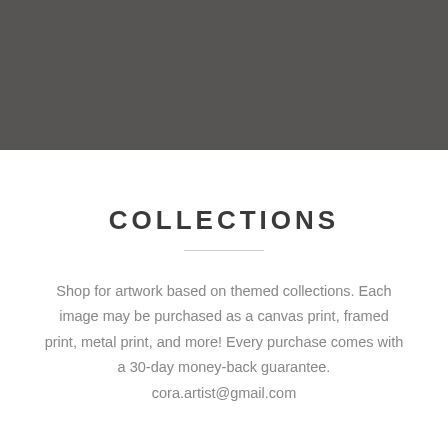[Figure (other): Dark gray/charcoal banner filling the top portion of the page]
COLLECTIONS
Shop for artwork based on themed collections. Each image may be purchased as a canvas print, framed print, metal print, and more! Every purchase comes with a 30-day money-back guarantee. cora.artist@gmail.com